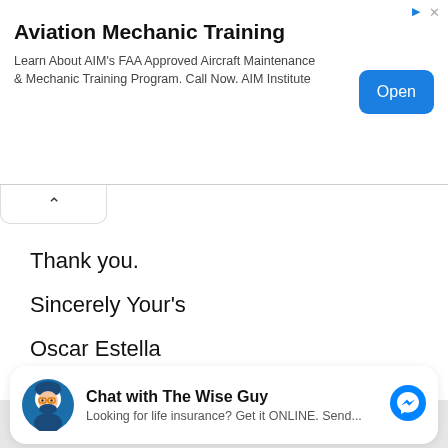[Figure (other): Aviation Mechanic Training advertisement banner with title, description text, and Open button]
Thank you.
Sincerely Your's
Oscar Estella
[Figure (other): Chat with The Wise Guy messenger widget card with avatar, title, subtitle, and Messenger icon]